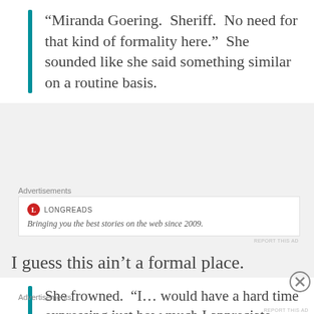“Miranda Goering.  Sheriff.  No need for that kind of formality here.”  She sounded like she said something similar on a routine basis.
Advertisements
[Figure (other): Longreads advertisement: logo with red circle L, brand name LONGREADS, tagline 'Bringing you the best stories on the web since 2009.']
REPORT THIS AD
I guess this ain’t a formal place.
She frowned.  “I… would have a hard time expressing just how much I appreciate your being here.”
Advertisements
REPORT THIS AD